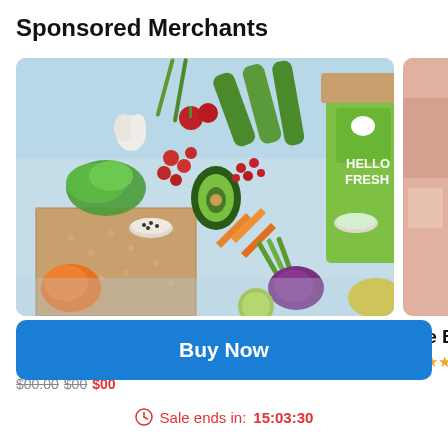Sponsored Merchants
[Figure (photo): HelloFresh meal kit box surrounded by fresh vegetables and ingredients on a light blue background]
HelloFresh Meal Kit Deliveries Deals
4.1 ★★★★☆ 22566 Ratings
The Bouq...
4.0 ★★★★
Buy Now
Sale ends in: 15:03:30